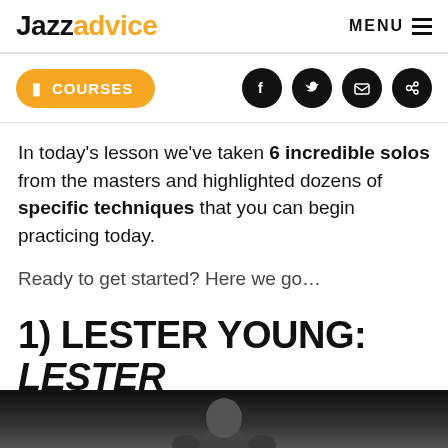Jazzadvice  MENU
[Figure (other): Orange COURSES button with book icon, and four black circular social media icons (Facebook, Twitter, email, link)]
In today's lesson we've taken 6 incredible solos from the masters and highlighted dozens of specific techniques that you can begin practicing today.
Ready to get started? Here we go…
1) LESTER YOUNG: LESTER LEAPS IN
[Figure (photo): Black and white photo strip of Lester Young partially visible at the bottom of the page]